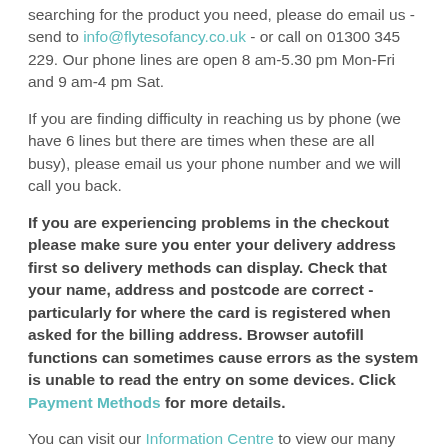searching for the product you need, please do email us - send to info@flytesofancy.co.uk - or call on 01300 345 229. Our phone lines are open 8 am-5.30 pm Mon-Fri and 9 am-4 pm Sat.
If you are finding difficulty in reaching us by phone (we have 6 lines but there are times when these are all busy), please email us your phone number and we will call you back.
If you are experiencing problems in the checkout please make sure you enter your delivery address first so delivery methods can display. Check that your name, address and postcode are correct - particularly for where the card is registered when asked for the billing address. Browser autofill functions can sometimes cause errors as the system is unable to read the entry on some devices. Click Payment Methods for more details.
You can visit our Information Centre to view our many videos, pages and pages of advice on keeping chickens, as well as Frequently Asked Questions pages. See also the footer of this page for all the information about